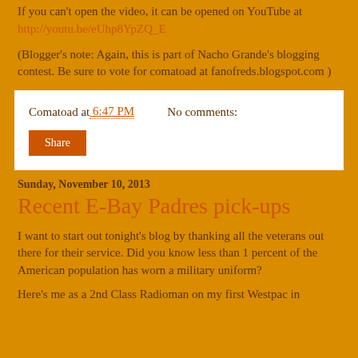If you can't open the video, it can be opened on YouTube at http://youtu.be/eUhp8YpZQ_E
(Blogger's note: Again, this is part of Nacho Grande's blogging contest. Be sure to vote for comatoad at fanofreds.blogspot.com )
Comatoad at 6:47 PM   No comments:
Share
Sunday, November 10, 2013
Recent E-Bay Padres pick-ups
I want to start out tonight's blog by thanking all the veterans out there for their service. Did you know less than 1 percent of the American population has worn a military uniform?
Here's me as a 2nd Class Radioman on my first Westpac in